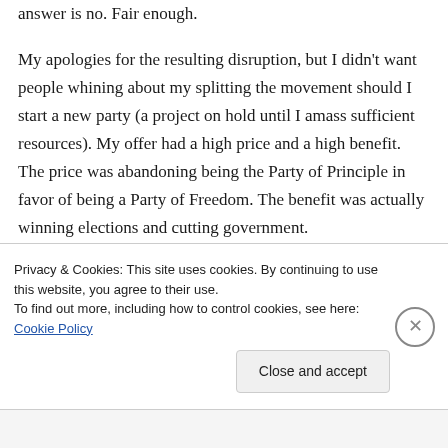answer is no. Fair enough.

My apologies for the resulting disruption, but I didn't want people whining about my splitting the movement should I start a new party (a project on hold until I amass sufficient resources). My offer had a high price and a high benefit. The price was abandoning being the Party of Principle in favor of being a Party of Freedom. The benefit was actually winning elections and cutting government.
Privacy & Cookies: This site uses cookies. By continuing to use this website, you agree to their use.
To find out more, including how to control cookies, see here: Cookie Policy